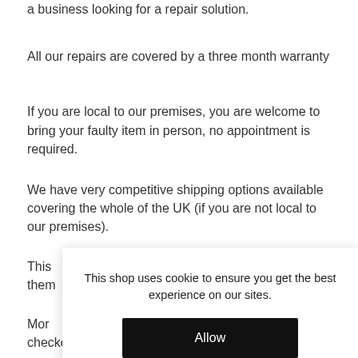a business looking for a repair solution.
All our repairs are covered by a three month warranty
If you are local to our premises, you are welcome to bring your faulty item in person, no appointment is required.
We have very competitive shipping options available covering the whole of the UK (if you are not local to our premises).
This [partially obscured] them [partially obscured]
More [partially obscured] checkout process and are also explained by viewing our "Shipping Option" page on the home page of our
This shop uses cookie to ensure you get the best experience on our sites.
Allow